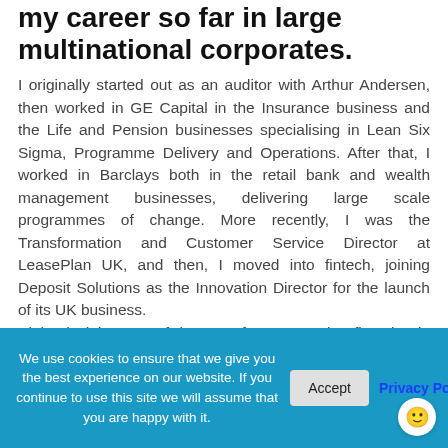my career so far in large multinational corporates.
I originally started out as an auditor with Arthur Andersen, then worked in GE Capital in the Insurance business and the Life and Pension businesses specialising in Lean Six Sigma, Programme Delivery and Operations. After that, I worked in Barclays both in the retail bank and wealth management businesses, delivering large scale programmes of change. More recently, I was the Transformation and Customer Service Director at LeasePlan UK, and then, I moved into fintech, joining Deposit Solutions as the Innovation Director for the launch of its UK business.
I joined Chip, one of the UK's fastest growing fintechs, in 2019 as the COO. Chip uses AI to save up money for you and get you better returns, all automatically.
We use cookies to ensure that we give you the best experience on our website. If you continue to use this site we will assume that you are happy with it.